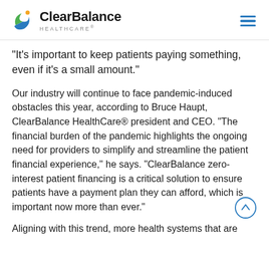ClearBalance HEALTHCARE®
“It’s important to keep patients paying something, even if it’s a small amount.”
Our industry will continue to face pandemic-induced obstacles this year, according to Bruce Haupt, ClearBalance HealthCare® president and CEO. “The financial burden of the pandemic highlights the ongoing need for providers to simplify and streamline the patient financial experience,” he says. “ClearBalance zero-interest patient financing is a critical solution to ensure patients have a payment plan they can afford, which is important now more than ever.”
Aligning with this trend, more health systems that are